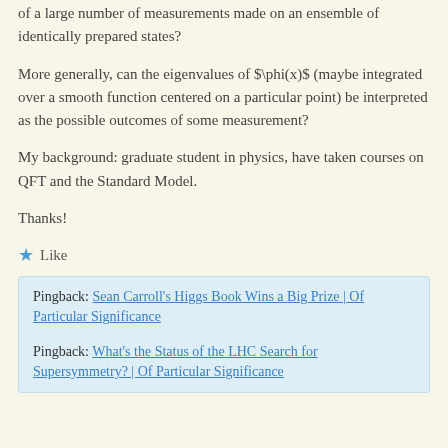of a large number of measurements made on an ensemble of identically prepared states?
More generally, can the eigenvalues of $\phi(x)$ (maybe integrated over a smooth function centered on a particular point) be interpreted as the possible outcomes of some measurement?
My background: graduate student in physics, have taken courses on QFT and the Standard Model.
Thanks!
★ Like
Pingback: Sean Carroll's Higgs Book Wins a Big Prize | Of Particular Significance
Pingback: What's the Status of the LHC Search for Supersymmetry? | Of Particular Significance